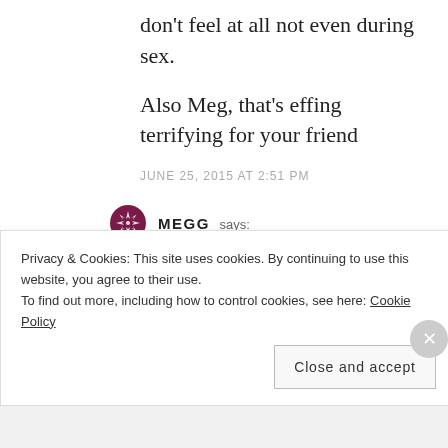don't feel at all not even during sex.
Also Meg, that's effing terrifying for your friend
JUNE 25, 2015 AT 2:51 PM
MEGG says:
Not too late to take the morning after pill at this point. Need to get
Privacy & Cookies: This site uses cookies. By continuing to use this website, you agree to their use.
To find out more, including how to control cookies, see here: Cookie Policy
Close and accept